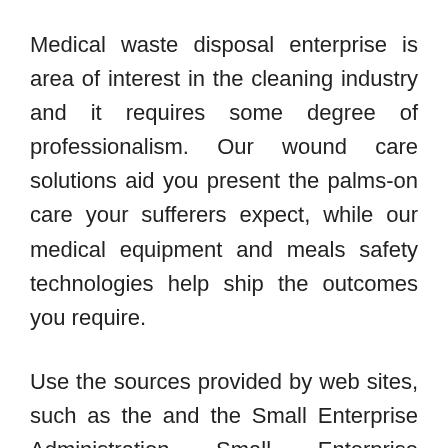Medical waste disposal enterprise is area of interest in the cleaning industry and it requires some degree of professionalism. Our wound care solutions aid you present the palms-on care your sufferers expect, while our medical equipment and meals safety technologies help ship the outcomes you require.
Use the sources provided by web sites, such as the and the Small Enterprise Administration Small Enterprise Planner web sites, to get began writing your health care business plan. Whatever your corporation, we have got healthcare cowl options to assist your workers really feel healthier and happier.
We deliver a variety of well being care services to more